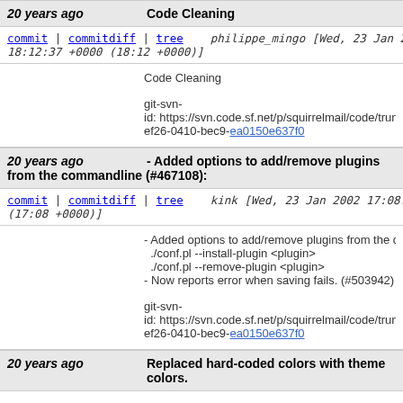20 years ago   Code Cleaning
commit | commitdiff | tree   philippe_mingo [Wed, 23 Jan 2002 18:12:37 +0000 (18:12 +0000)]
Code Cleaning

git-svn-id: https://svn.code.sf.net/p/squirrelmail/code/trunk ef26-0410-bec9-ea0150e637f0
20 years ago   - Added options to add/remove plugins from the commandline (#467108):
commit | commitdiff | tree   kink [Wed, 23 Jan 2002 17:08:18 +0000 (17:08 +0000)]
- Added options to add/remove plugins from the co
  ./conf.pl --install-plugin <plugin>
  ./conf.pl --remove-plugin <plugin>
- Now reports error when saving fails. (#503942)

git-svn-id: https://svn.code.sf.net/p/squirrelmail/code/trunk ef26-0410-bec9-ea0150e637f0
20 years ago   Replaced hard-coded colors with theme colors.